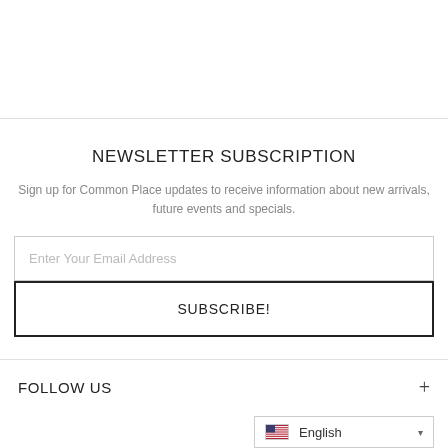NEWSLETTER SUBSCRIPTION
Sign up for Common Place updates to receive information about new arrivals, future events and specials.
Enter Your Email Address
SUBSCRIBE!
FOLLOW US
English